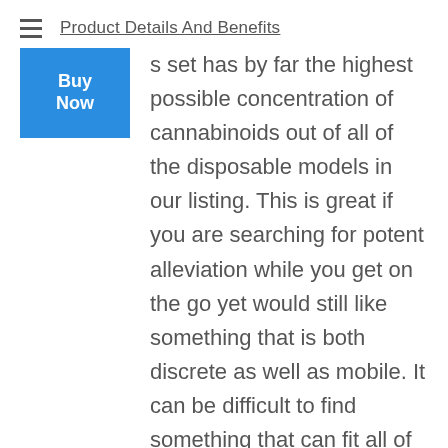Product Details And Benefits
[Figure (other): Blue 'Buy Now' button overlay]
s set has by far the highest possible concentration of cannabinoids out of all of the disposable models in our listing. This is great if you are searching for potent alleviation while you get on the go yet would still like something that is both discrete as well as mobile. It can be difficult to find something that can fit all of these features while still being economical. Fortunately you do not need to